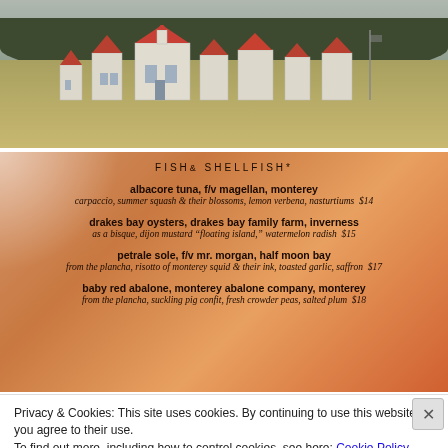[Figure (photo): Outdoor photograph of white buildings with red roofs on a green field, with forested hills in the background. Appears to be a ranch or historic property.]
[Figure (photo): Menu card with warm orange/brown background showing fish and shellfish items: albacore tuna, drakes bay oysters, petrale sole, and baby red abalone with descriptions and prices.]
FISH& SHELLFISH*
albacore tuna, f/v magellan, monterey
carpaccio, summer squash & their blossoms, lemon verbena, nasturtiums  $14
drakes bay oysters, drakes bay family farm, inverness
as a bisque, dijon mustard "floating island," watermelon radish  $15
petrale sole, f/v mr. morgan, half moon bay
from the plancha, risotto of monterey squid & their ink, toasted garlic, saffron  $17
baby red abalone, monterey abalone company, monterey
from the plancha, suckling pig confit, fresh crowder peas, salted plum  $18
Privacy & Cookies: This site uses cookies. By continuing to use this website, you agree to their use.
To find out more, including how to control cookies, see here: Cookie Policy
Close and accept